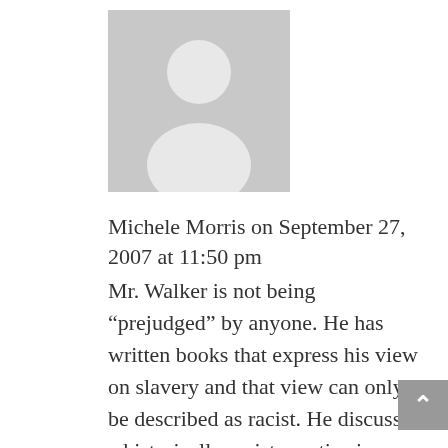[Figure (photo): Generic user avatar: grey square with white silhouette of a person (head and shoulders)]
Michele Morris on September 27, 2007 at 11:50 pm
Mr. Walker is not being “prejudged” by anyone. He has written books that express his view on slavery and that view can only be described as racist. He discusses a historically racist practice in a manner that keeps racism alive today.

Mr. Walker would have us believe that the practice of slavery was beneficial for the slave, his master, and the South. That the relationship between slave and master was a happy one. That the absence of slave